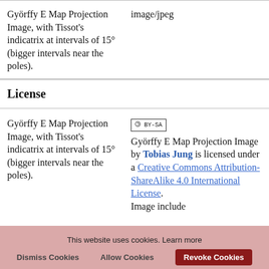| Description | Type |
| --- | --- |
| Györffy E Map Projection Image, with Tissot's indicatrix at intervals of 15° (bigger intervals near the poles). | image/jpeg |
| License |
| --- |
| Description | License Info |
| --- | --- |
| Györffy E Map Projection Image, with Tissot's indicatrix at intervals of 15° (bigger intervals near the poles). | [CC BY-SA] Györffy E Map Projection Image by Tobias Jung is licensed under a Creative Commons Attribution-ShareAlike 4.0 International License. Image include... |
This website uses cookies. Learn more
Dismiss Cookies   Allow Cookies   Revoke Cookies